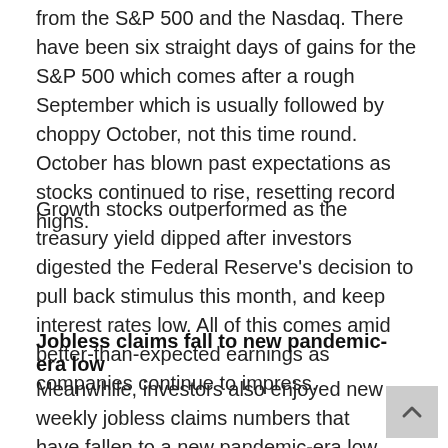from the S&P 500 and the Nasdaq. There have been six straight days of gains for the S&P 500 which comes after a rough September which is usually followed by choppy October, not this time round. October has blown past expectations as stocks continued to rise, resetting record highs.
Growth stocks outperformed as the treasury yield dipped after investors digested the Federal Reserve's decision to pull back stimulus this month, and keep interest rates low. All of this comes amid better-than-expected earnings as companies continue to impress.
Jobless claims fall to new pandemic-era low
Meanwhile, investors also enjoyed new weekly jobless claims numbers that have fallen to a new pandemic-era low at 269,000, coming in better-than-expected, these figures are